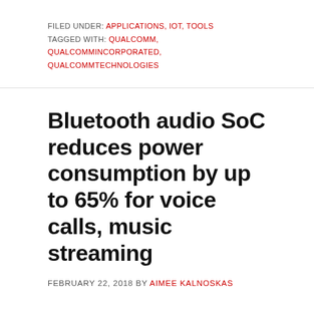FILED UNDER: APPLICATIONS, IOT, TOOLS
TAGGED WITH: QUALCOMM, QUALCOMMINCORPORATED, QUALCOMMTECHNOLOGIES
Bluetooth audio SoC reduces power consumption by up to 65% for voice calls, music streaming
FEBRUARY 22, 2018 BY AIMEE KALNOSKAS
Qualcomm Technologies International, Ltd., a